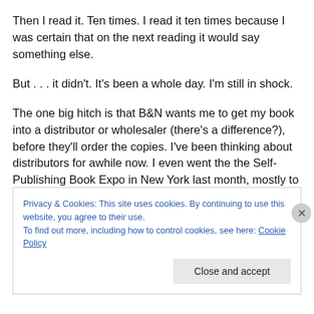Then I read it. Ten times. I read it ten times because I was certain that on the next reading it would say something else.
But . . . it didn't. It's been a whole day. I'm still in shock.
The one big hitch is that B&N wants me to get my book into a distributor or wholesaler (there's a difference?), before they'll order the copies. I've been thinking about distributors for awhile now. I even went the the Self-Publishing Book Expo in New York last month, mostly to
Privacy & Cookies: This site uses cookies. By continuing to use this website, you agree to their use.
To find out more, including how to control cookies, see here: Cookie Policy